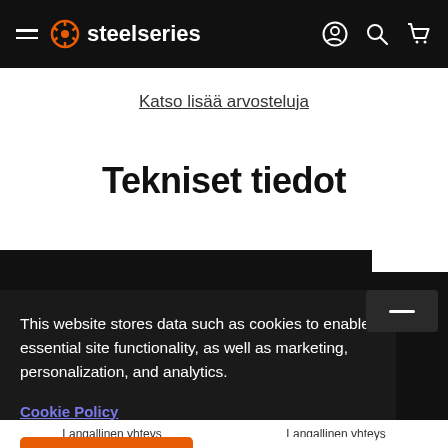steelseries
Katso lisää arvosteluja
Tekniset tiedot
This website stores data such as cookies to enable essential site functionality, as well as marketing, personalization, and analytics.
Cookie Policy
Accept
Deny
Langallinen yhteys
Langallinen yhteys